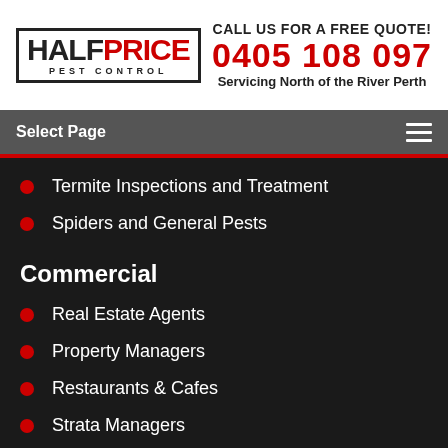[Figure (logo): Half Price Pest Control logo with red and black text in a bordered box]
CALL US FOR A FREE QUOTE! 0405 108 097 Servicing North of the River Perth
Select Page
Termite Inspections and Treatment
Spiders and General Pests
Commercial
Real Estate Agents
Property Managers
Restaurants & Cafes
Strata Managers
Warehouse & Factories